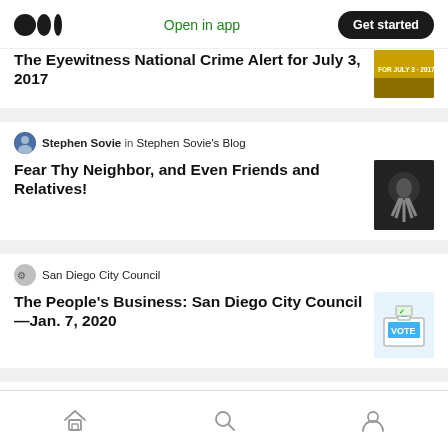Medium logo | Open in app | Get started
The Eyewitness National Crime Alert for July 3, 2017
Stephen Sovie in Stephen Sovie's Blog
Fear Thy Neighbor, and Even Friends and Relatives!
San Diego City Council
The People's Business: San Diego City Council—Jan. 7, 2020
Anja Huffstutler
Should You Punch Nazis?
Home | Search | Profile